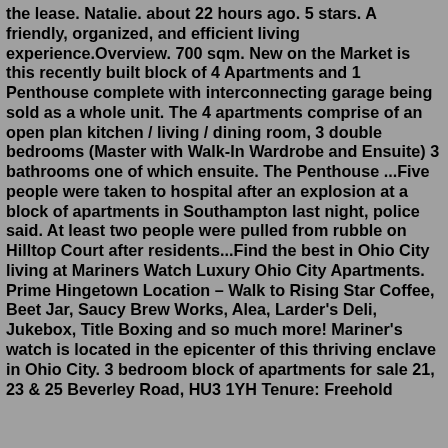the lease. Natalie. about 22 hours ago. 5 stars. A friendly, organized, and efficient living experience.Overview. 700 sqm. New on the Market is this recently built block of 4 Apartments and 1 Penthouse complete with interconnecting garage being sold as a whole unit. The 4 apartments comprise of an open plan kitchen / living / dining room, 3 double bedrooms (Master with Walk-In Wardrobe and Ensuite) 3 bathrooms one of which ensuite. The Penthouse ...Five people were taken to hospital after an explosion at a block of apartments in Southampton last night, police said. At least two people were pulled from rubble on Hilltop Court after residents...Find the best in Ohio City living at Mariners Watch Luxury Ohio City Apartments. Prime Hingetown Location – Walk to Rising Star Coffee, Beet Jar, Saucy Brew Works, Alea, Larder's Deli, Jukebox, Title Boxing and so much more! Mariner's watch is located in the epicenter of this thriving enclave in Ohio City. 3 bedroom block of apartments for sale 21, 23 & 25 Beverley Road, HU3 1YH Tenure: Freehold